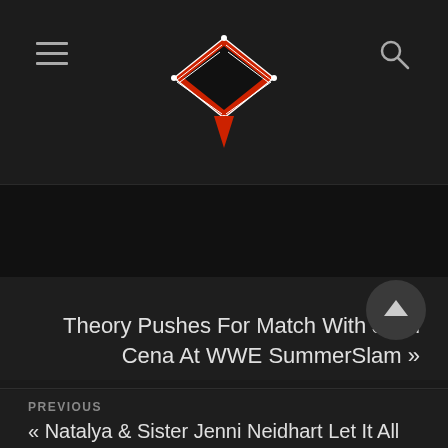Wrestling news website header with logo and navigation
[Figure (logo): Wrestling website logo — a red boxing/wrestling ring viewed from above with ropes, on a dark background, diamond/rhombus shape]
NEXT
Theory Pushes For Match With John Cena At WWE SummerSlam »
PREVIOUS
« Natalya & Sister Jenni Neidhart Let It All Hang Out In